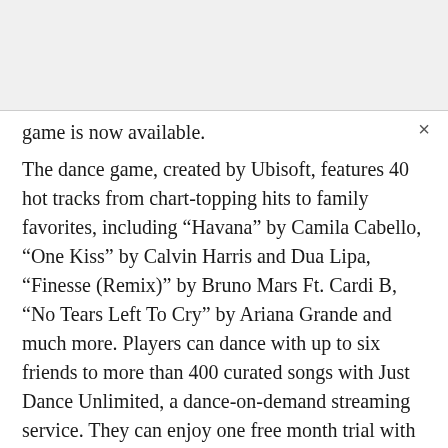game is now available.
The dance game, created by Ubisoft, features 40 hot tracks from chart-topping hits to family favorites, including “Havana” by Camila Cabello, “One Kiss” by Calvin Harris and Dua Lipa, “Finesse (Remix)” by Bruno Mars Ft. Cardi B, “No Tears Left To Cry” by Ariana Grande and much more. Players can dance with up to six friends to more than 400 curated songs with Just Dance Unlimited, a dance-on-demand streaming service. They can enjoy one free month trial with every copy of Just Dance 2019.